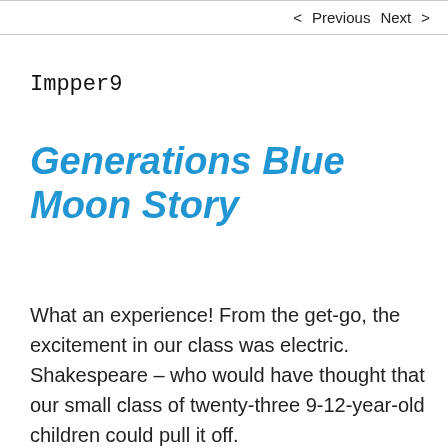< Previous   Next >
Impper9
Generations Blue Moon Story
What an experience! From the get-go, the excitement in our class was electric. Shakespeare – who would have thought that our small class of twenty-three 9-12-year-old children could pull it off.